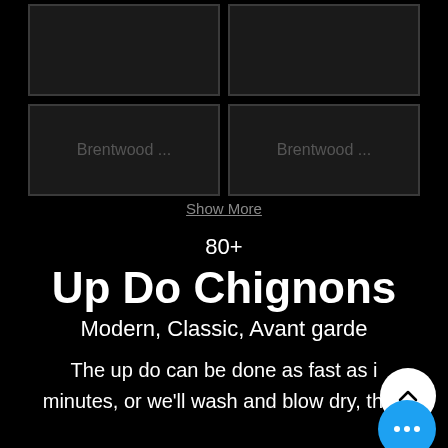[Figure (screenshot): 2x2 grid of dark photo placeholder tiles labeled 'Brentwood ...' in bottom two cells]
Show More
80+
Up Do Chignons
Modern, Classic, Avant garde
The up do can be done as fast as i... minutes, or we'll wash and blow dry, then put the hair up, curly or straight, mo... classic.